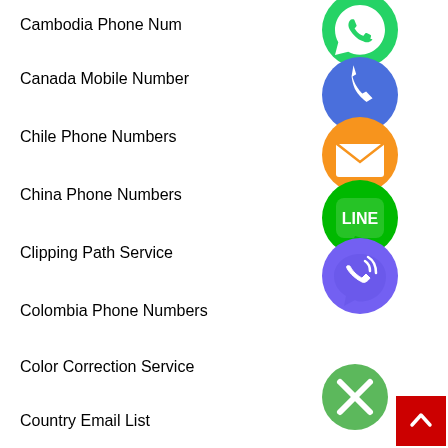Cambodia Phone Numbers
Canada Mobile Number
Chile Phone Numbers
China Phone Numbers
Clipping Path Service
Colombia Phone Numbers
Color Correction Service
Country Email List
[Figure (infographic): Floating social/contact icons (WhatsApp green, Phone blue, Email orange, LINE green, Viber purple, Close green) overlaid on the list items on the right side, and a red back-to-top button at bottom right.]